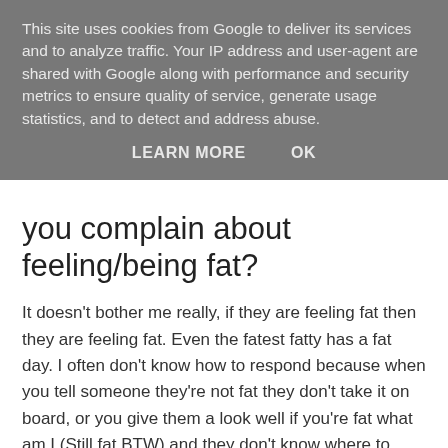This site uses cookies from Google to deliver its services and to analyze traffic. Your IP address and user-agent are shared with Google along with performance and security metrics to ensure quality of service, generate usage statistics, and to detect and address abuse.
LEARN MORE   OK
you complain about feeling/being fat?
It doesn't bother me really, if they are feeling fat then they are feeling fat. Even the fatest fatty has a fat day. I often don't know how to respond because when you tell someone they're not fat they don't take it on board, or you give them a look well if you're fat what am I (Still fat BTW) and they don't know where to look. If someone is feeling fat I leave them too it.
How has your body image changed since